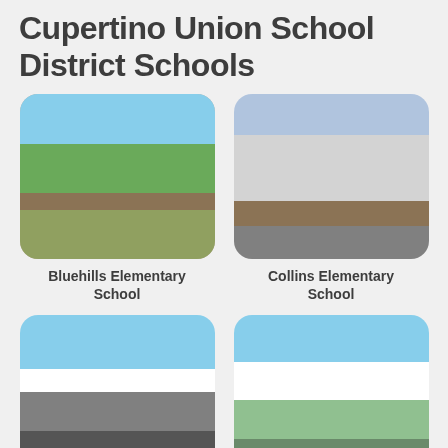Cupertino Union School District Schools
[Figure (photo): Exterior photo of Bluehills Elementary School with school sign visible in foreground and trees in background]
Bluehills Elementary School
[Figure (photo): Exterior photo of Collins Elementary School showing front facade of building with driveway]
Collins Elementary School
[Figure (photo): Exterior photo of a Cupertino Union School District elementary school with school sign and logo visible]
[Figure (photo): Exterior photo of a Cupertino Union School District elementary school with school sign and landscaping]